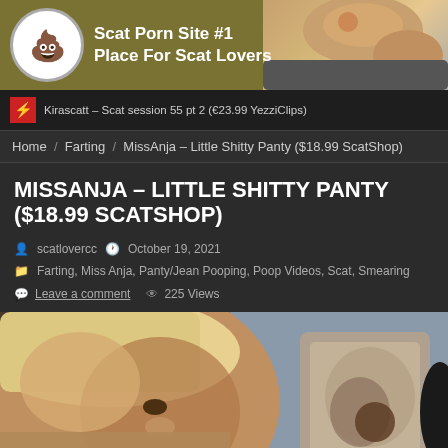Scat Porn Site #1 Place For Scat Lovers
Kirascatt – Scat session 55 pt 2 (€23.99 YezziClips)
Home / Farting / MissAnja – Little Shitty Panty ($18.99 ScatShop)
MISSANJA – LITTLE SHITTY PANTY ($18.99 SCATSHOP)
scatlovercc   October 19, 2021
Farting, Miss Anja, Panty/Jean Pooping, Poop Videos, Scat, Smearing
Leave a comment   225 Views
[Figure (photo): Thumbnail photo showing a blonde woman holding a soiled undergarment]